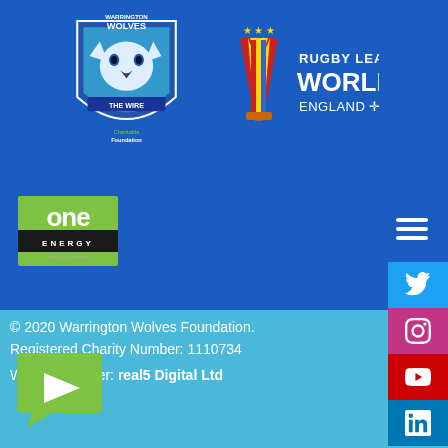[Figure (logo): Warrington Wolves Charitable Foundation logo and Rugby League World Cup England 2021 logo on blue background]
[Figure (logo): One Energy sponsor logo in green and black]
[Figure (infographic): Social media sidebar buttons: Twitter, Instagram, YouTube, LinkedIn]
© 2020 Warrington Wolves Foundation. Registered Charity Number: 1110734 Website Partner: real5 Digital Ltd